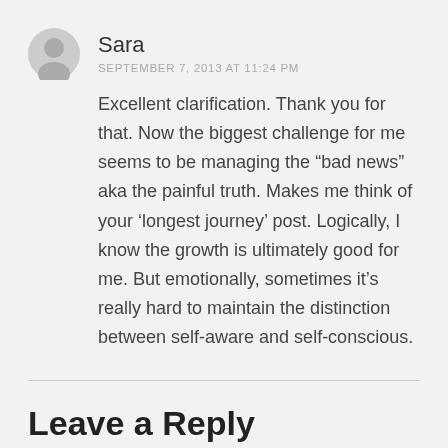[Figure (illustration): Circular gray avatar/profile icon showing a generic user silhouette]
Sara
SEPTEMBER 7, 2013 AT 11:24 PM
Excellent clarification. Thank you for that. Now the biggest challenge for me seems to be managing the “bad news” aka the painful truth. Makes me think of your ‘longest journey’ post. Logically, I know the growth is ultimately good for me. But emotionally, sometimes it’s really hard to maintain the distinction between self-aware and self-conscious.
Leave a Reply